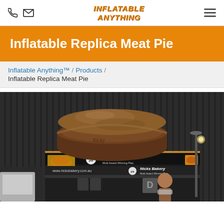Inflatable Anything — navigation bar with phone, email icons, logo, and hamburger menu
Inflatable Replica Meat Pie
Inflatable Anything™ / Products / Inflatable Replica Meat Pie
[Figure (photo): Large inflatable replica meat pie mounted on top of a Nicks Bakery exhibition stall/van. The stall has signage reading 'Nicks Bakery Multi Award Winning Pies' and 'www.nicksbakery.com.au'. The setting appears to be an outdoor or covered market/expo with dark corrugated metal wall behind. People visible near the stall.]